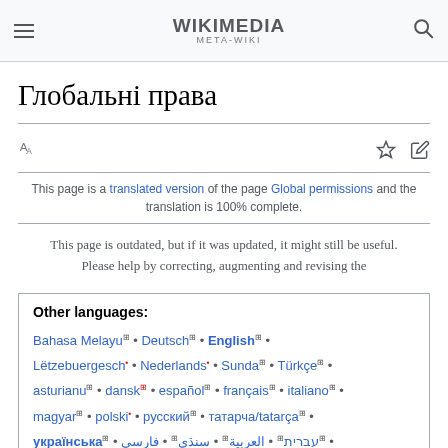Wikimedia Meta-Wiki
Глобальні права
This page is a translated version of the page Global permissions and the translation is 100% complete.
This page is outdated, but if it was updated, it might still be useful. Please help by correcting, augmenting and revising the
Other languages:
Bahasa Melayu • Deutsch • English • Lëtzebuergesch • Nederlands • Sunda • Türkçe • asturianu • dansk • español • français • italiano • magyar • polski • русский • татарча/tatarça • українська • עברית • العربية • سنڌي • فارسی •